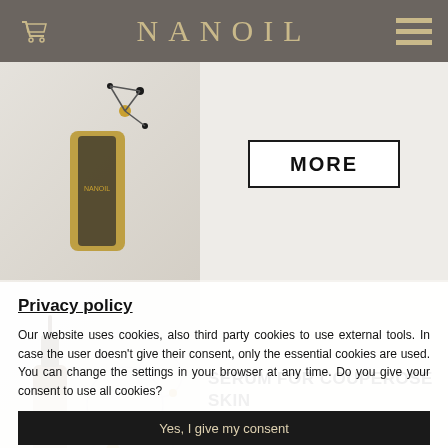NANOIL
[Figure (photo): Nanoil product bottle with molecular design on beige background, with a MORE button]
[Figure (photo): Nanoil serum dropper bottle with bubbles on light background, labeled SERUM FOR COUPEROSE SKIN with a MORE button]
Privacy policy
Our website uses cookies, also third party cookies to use external tools. In case the user doesn't give their consent, only the essential cookies are used. You can change the settings in your browser at any time. Do you give your consent to use all cookies?
Yes, I give my consent
No, I don't give my consent
Personalize